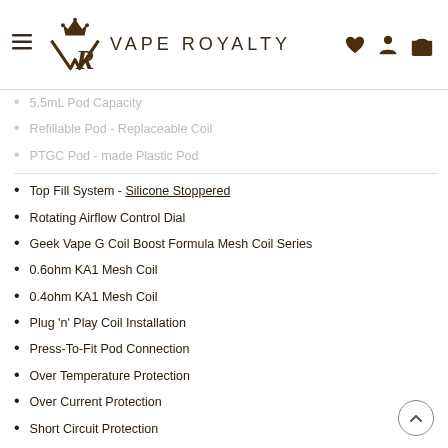Vape Royalty
5.5mL Pod Capacity
Refillable Pod - Replaceable Coil
PTGC Pod - made Plastic Pod
Top Fill System - Silicone Stoppered
Rotating Airflow Control Dial
Geek Vape G Coil Boost Formula Mesh Coil Series
0.6ohm KA1 Mesh Coil
0.4ohm KA1 Mesh Coil
Plug 'n' Play Coil Installation
Press-To-Fit Pod Connection
Over Temperature Protection
Over Current Protection
Short Circuit Protection
Over Discharge Protection
Over Charge Protection
MicroUSB Charging Port